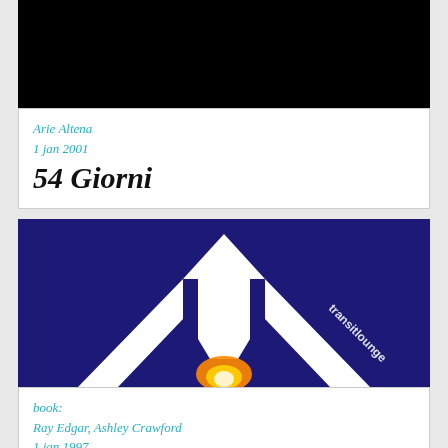[Figure (photo): Black image area at top of first entry card]
Arie Altena
1 jan 2001
54 Giorni
[Figure (photo): Transit Lounge book cover image showing white arrow/triangle shapes on dark blue/purple background with 'transitlounge' text and orange glow at bottom]
book:
Ray Edgar, Ashley Crawford
1 jan 1997
Transit Lounge, Wake-Up Calls & Travellers
Tales from the Future